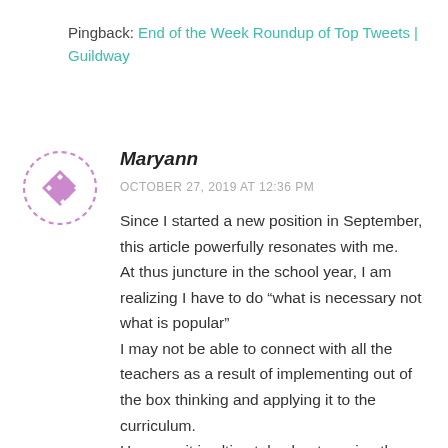Pingback: End of the Week Roundup of Top Tweets | Guildway
[Figure (illustration): Pink/purple avatar icon with a diamond/cross pattern and dashed circular border]
Maryann
OCTOBER 27, 2019 AT 12:36 PM
Since I started a new position in September, this article powerfully resonates with me.
At thus juncture in the school year, I am realizing I have to do “what is necessary not what is popular”
I may not be able to connect with all the teachers as a result of implementing out of the box thinking and applying it to the curriculum.
However it is ultimately about moving the students forward and sharing with the